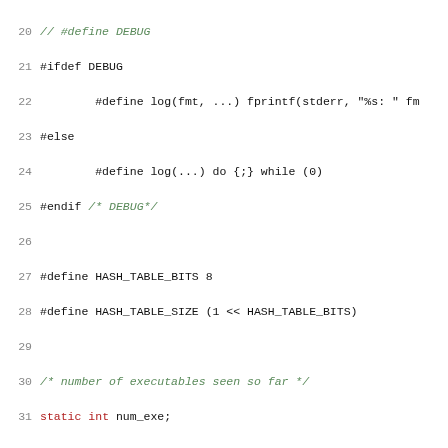[Figure (screenshot): C source code listing showing lines 20-51, including preprocessor macros for DEBUG and HASH_TABLE, struct definition for hash_table_entry, static table declarations, and hash_token function implementation.]